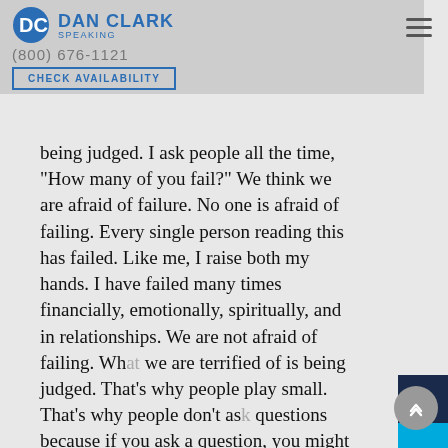Dan Clark Speaking - (800) 676-1121 - CHECK AVAILABILITY
being judged. I ask people all the time, "How many of you fail?" We think we are afraid of failure. No one is afraid of failing. Every single person reading this has failed. Like me, I raise both my hands. I have failed many times financially, emotionally, spiritually, and in relationships. We are not afraid of failing. What we are terrified of is being judged. That's why people play small. That's why people don't ask questions because if you ask a question, you might be laughed at, ridiculed, mocked or made fun of.
What people are deathly afraid of is being mocked by their peers, laughed at by their family, ridiculed by a church or talked down to by some social group of people. What we do is we stay in those little teeny boxes. One of my favorite books